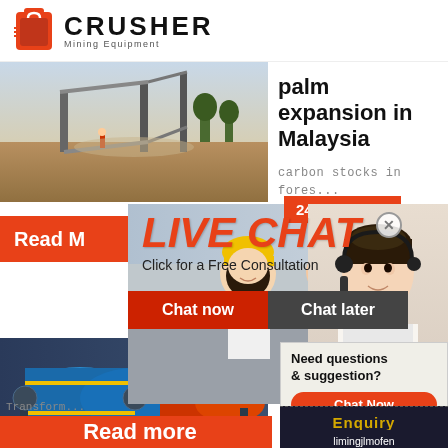[Figure (logo): Crusher Mining Equipment logo with red shopping bag icon and bold CRUSHER text]
[Figure (photo): Mining crusher site with conveyor belts and earthworks machinery outdoors]
palm expansion in Malaysia
carbon stocks in fores...
24Hrs Online
Read M
[Figure (photo): Three workers wearing yellow hard hats at a construction site]
LIVE CHAT
Click for a Free Consultation
Chat now
Chat later
[Figure (photo): Female customer service representative wearing headset]
[Figure (photo): Industrial ball mill machinery with blue cylindrical drums and yellow piping]
Transf... for Ren... Rentals...
Transform...
Need questions & suggestion?
Chat Now
Enquiry
limingjlmofen@sina.com
Read more